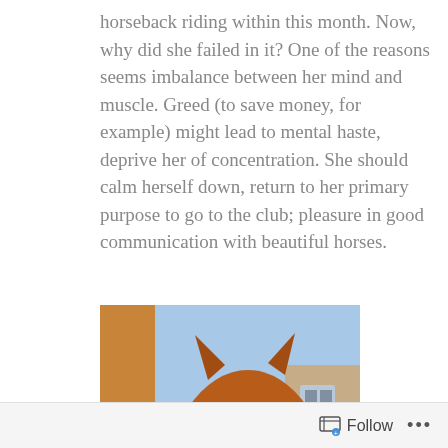horseback riding within this month. Now, why did she failed in it? One of the reasons seems imbalance between her mind and muscle. Greed (to save money, for example) might lead to mental haste, deprive her of concentration. She should calm herself down, return to her primary purpose to go to the club; pleasure in good communication with beautiful horses.
[Figure (photo): Close-up photograph of a chestnut horse with a halter, facing the camera, with a colorful illustrated background.]
Manifest chestnuts
Follow ...